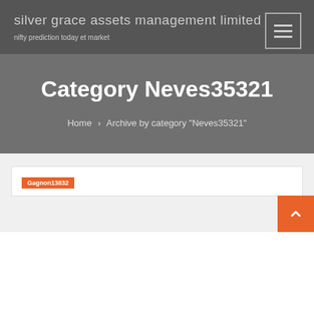silver grace assets management limited
nifty prediction today et market
Category Neves35321
Home › Archive by category "Neves35321"
Gagnon13832